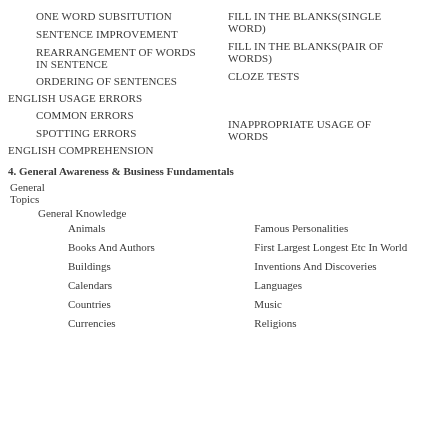ONE WORD SUBSITUTION
FILL IN THE BLANKS(SINGLE WORD)
SENTENCE IMPROVEMENT
FILL IN THE BLANKS(PAIR OF WORDS)
REARRANGEMENT OF WORDS IN SENTENCE
CLOZE TESTS
ORDERING OF SENTENCES
ENGLISH USAGE ERRORS
COMMON ERRORS
INAPPROPRIATE USAGE OF WORDS
SPOTTING ERRORS
ENGLISH COMPREHENSION
4. General Awareness & Business Fundamentals
General Topics
General Knowledge
Animals
Famous Personalities
Books And Authors
First Largest Longest Etc In World
Buildings
Inventions And Discoveries
Calendars
Languages
Countries
Music
Currencies
Religions